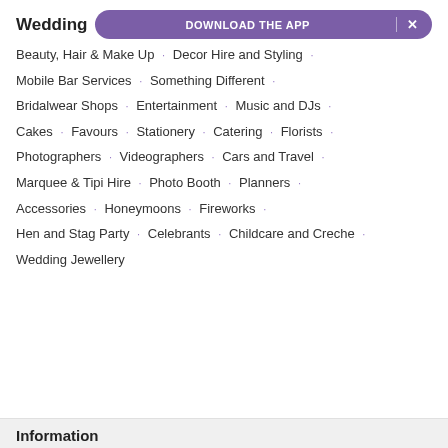Wedding
[Figure (other): Purple pill-shaped app download banner with text DOWNLOAD THE APP and an X close button]
Beauty, Hair & Make Up · Decor Hire and Styling ·
Mobile Bar Services · Something Different ·
Bridalwear Shops · Entertainment · Music and DJs ·
Cakes · Favours · Stationery · Catering · Florists ·
Photographers · Videographers · Cars and Travel ·
Marquee & Tipi Hire · Photo Booth · Planners ·
Accessories · Honeymoons · Fireworks ·
Hen and Stag Party · Celebrants · Childcare and Creche ·
Wedding Jewellery
Information